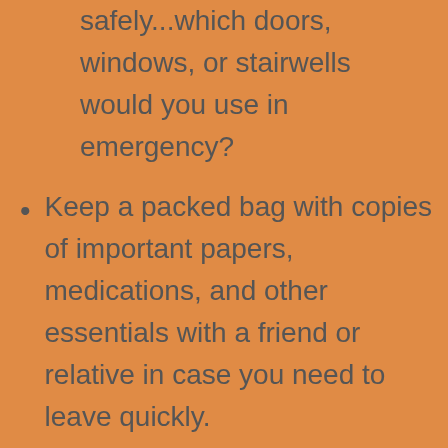safely...which doors, windows, or stairwells would you use in emergency?
Keep a packed bag with copies of important papers, medications, and other essentials with a friend or relative in case you need to leave quickly.
Tell a neighbor about your situation and ask them to